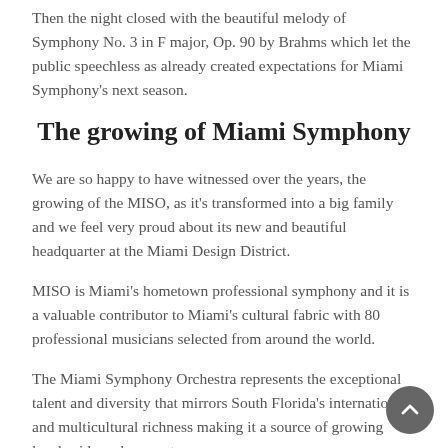Then the night closed with the beautiful melody of Symphony No. 3 in F major, Op. 90 by Brahms which let the public speechless as already created expectations for Miami Symphony's next season.
The growing of Miami Symphony
We are so happy to have witnessed over the years, the growing of the MISO, as it's transformed into a big family and we feel very proud about its new and beautiful headquarter at the Miami Design District.
MISO is Miami's hometown professional symphony and it is a valuable contributor to Miami's cultural fabric with 80 professional musicians selected from around the world.
The Miami Symphony Orchestra represents the exceptional talent and diversity that mirrors South Florida's international and multicultural richness making it a source of growing local pride and support.